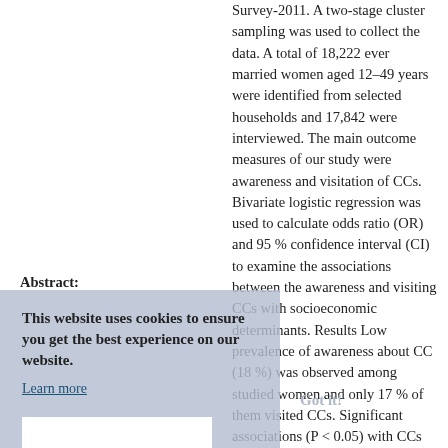Survey-2011. A two-stage cluster sampling was used to collect the data. A total of 18,222 ever married women aged 12–49 years were identified from selected households and 17,842 were interviewed. The main outcome measures of our study were awareness and visitation of CCs. Bivariate logistic regression was used to calculate odds ratio (OR) and 95 % confidence interval (CI) to examine the associations between the awareness and visiting CCs with socioeconomic determinants. Results Low prevalence of awareness about CC (18 %) was observed among studied women and only 17 % of them visited CCs. Significant associations (P < 0.05) with CCs awareness and visitation were observed among aged 20–29 years (adjusted OR = 1.18; 95 % CI = 1.03–1.35 and adjusted OR = 1.49; 95 % CI = 1.05–2.11), primary education (adjusted OR = 1.20; 95 % CI = 1.08–1.34 and adjusted OR = 1.37; 95 % CI =
Abstract: